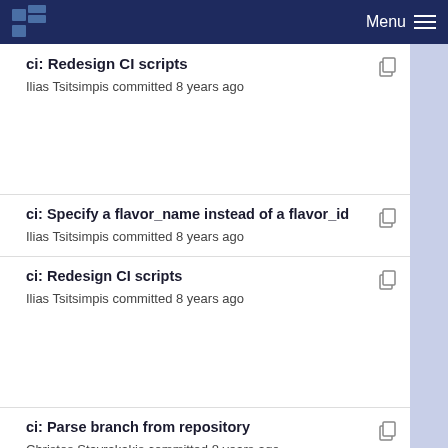Menu
ci: Redesign CI scripts
Ilias Tsitsimpis committed 8 years ago
ci: Specify a flavor_name instead of a flavor_id
Ilias Tsitsimpis committed 8 years ago
ci: Redesign CI scripts
Ilias Tsitsimpis committed 8 years ago
ci: Parse branch from repository
Christos Stavrakakis committed 8 years ago
ci: Add option to build and fetch documentation
Christos Stavrakakis committed 8 years ago